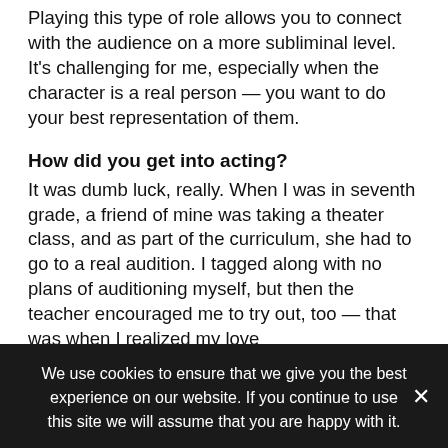Playing this type of role allows you to connect with the audience on a more subliminal level. It's challenging for me, especially when the character is a real person — you want to do your best representation of them.
How did you get into acting?
It was dumb luck, really. When I was in seventh grade, a friend of mine was taking a theater class, and as part of the curriculum, she had to go to a real audition. I tagged along with no plans of auditioning myself, but then the teacher encouraged me to try out, too — that was when I realized my love
We use cookies to ensure that we give you the best experience on our website. If you continue to use this site we will assume that you are happy with it.